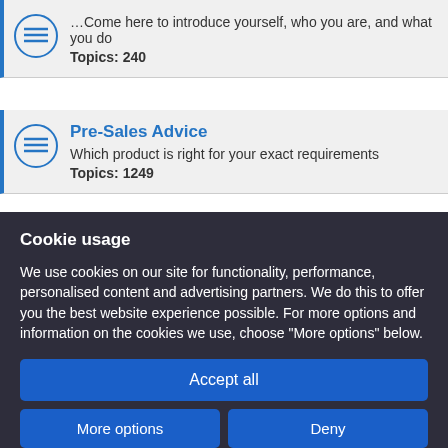Introduce yourself, who you are, and what you do
Topics: 240
Pre-Sales Advice
Which product is right for your exact requirements
Topics: 1249
Getting Started
Having problems ? let us know the details here
Topics: 378
Cookie usage
We use cookies on our site for functionality, performance, personalised content and advertising partners. We do this to offer you the best website experience possible. For more options and information on the cookies we use, choose "More options" below.
Accept all
More options
Deny